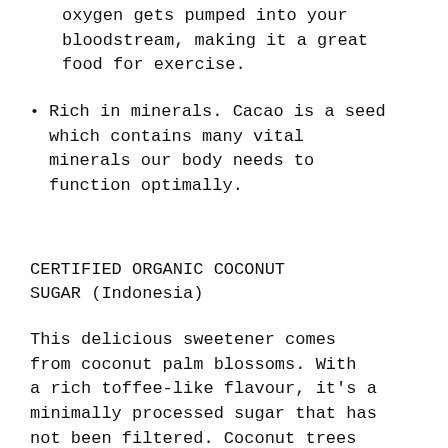oxygen gets pumped into your bloodstream, making it a great food for exercise.
Rich in minerals. Cacao is a seed which contains many vital minerals our body needs to function optimally.
CERTIFIED ORGANIC COCONUT SUGAR (Indonesia)
This delicious sweetener comes from coconut palm blossoms. With a rich toffee-like flavour, it's a minimally processed sugar that has not been filtered. Coconut trees produce 50-75% more sugar per acre but use less than one fifth of the soil nutrients and water, making